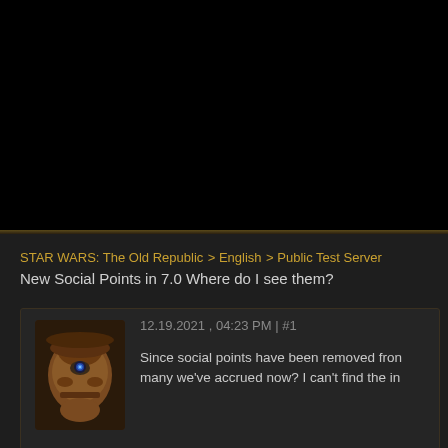[Figure (other): Black banner area at top of page, representing a website header/navigation area]
STAR WARS: The Old Republic > English > Public Test Server
New Social Points in 7.0 Where do I see them?
[Figure (photo): Forum user avatar showing a robot/droid character with a glowing blue eye, wearing a hat, with orange/brown metallic body]
12.19.2021 , 04:23 PM | #1
Since social points have been removed from many we've accrued now? I can't find the in